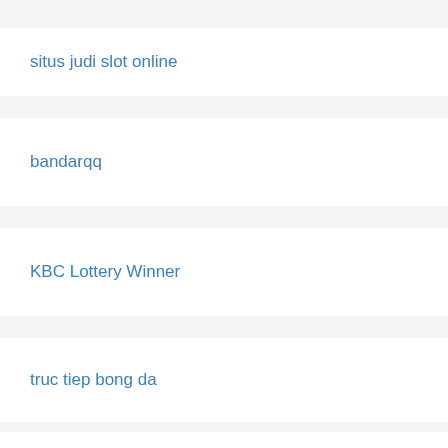situs judi slot online
bandarqq
KBC Lottery Winner
truc tiep bong da